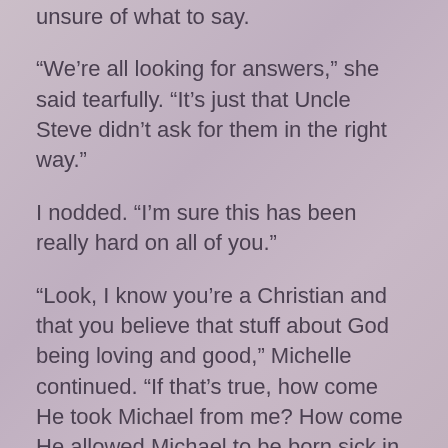unsure of what to say.
“We’re all looking for answers,” she said tearfully. “It’s just that Uncle Steve didn’t ask for them in the right way.”
I nodded. “I’m sure this has been really hard on all of you.”
“Look, I know you’re a Christian and that you believe that stuff about God being loving and good,” Michelle continued. “If that’s true, how come He took Michael from me? How come He allowed Michael to be born sick in the first place?”